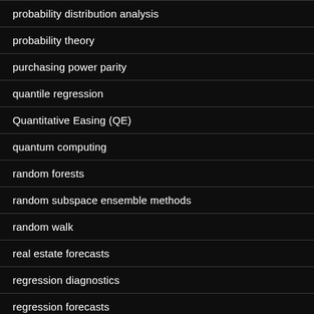probability distribution analysis
probability theory
purchasing power parity
quantile regression
Quantitative Easing (QE)
quantum computing
random forests
random subspace ensemble methods
random walk
real estate forecasts
regression diagnostics
regression forecasts